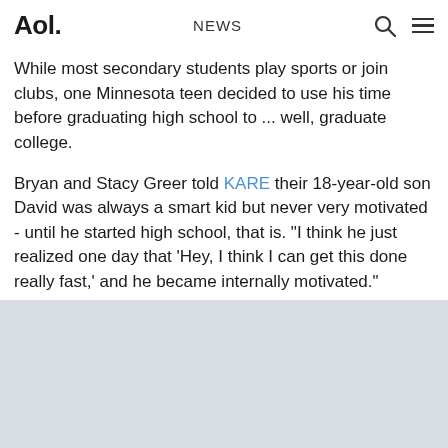Aol. NEWS
While most secondary students play sports or join clubs, one Minnesota teen decided to use his time before graduating high school to ... well, graduate college.
Bryan and Stacy Greer told KARE their 18-year-old son David was always a smart kid but never very motivated - until he started high school, that is. "I think he just realized one day that 'Hey, I think I can get this done really fast,' and he became internally motivated."